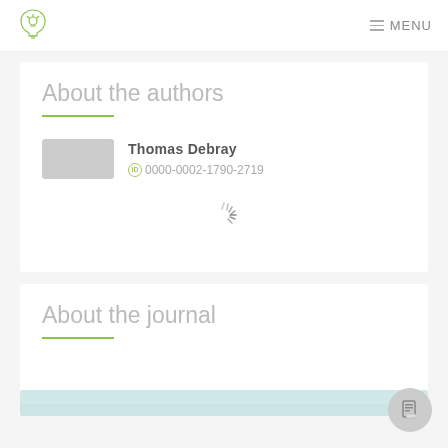[Figure (logo): Website logo - shield/lightbulb icon in green outline]
≡ MENU
About the authors
Thomas Debray
0000-0002-1790-2719
[Figure (other): Loading spinner animation]
About the journal
[Figure (other): Light teal/cyan colored bar element]
[Figure (other): Circular FAB button with document/clipboard icon]